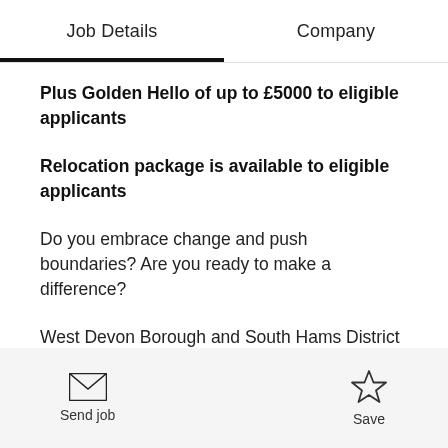Job Details    Company
Plus Golden Hello of up to £5000 to eligible applicants
Relocation package is available to eligible applicants
Do you embrace change and push boundaries? Are you ready to make a difference?
West Devon Borough and South Hams District Councils are shared authorities with an exciting
Send job    Save